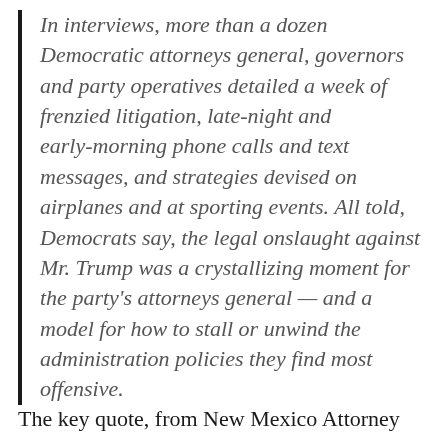In interviews, more than a dozen Democratic attorneys general, governors and party operatives detailed a week of frenzied litigation, late-night and early-morning phone calls and text messages, and strategies devised on airplanes and at sporting events. All told, Democrats say, the legal onslaught against Mr. Trump was a crystallizing moment for the party's attorneys general — and a model for how to stall or unwind the administration policies they find most offensive.
The key quote, from New Mexico Attorney